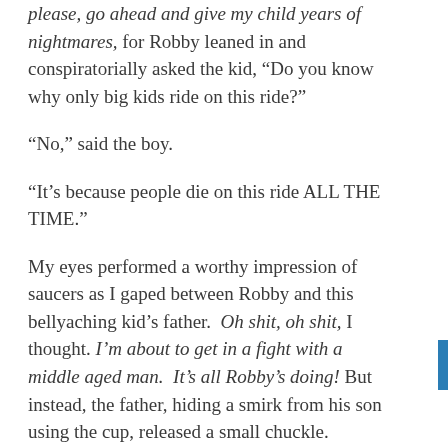please, go ahead and give my child years of nightmares, for Robby leaned in and conspiratorially asked the kid, “Do you know why only big kids ride on this ride?”
“No,” said the boy.
“It’s because people die on this ride ALL THE TIME.”
My eyes performed a worthy impression of saucers as I gaped between Robby and this bellyaching kid’s father. Oh shit, oh shit, I thought. I’m about to get in a fight with a middle aged man. It’s all Robby’s doing! But instead, the father, hiding a smirk from his son using the cup, released a small chuckle.